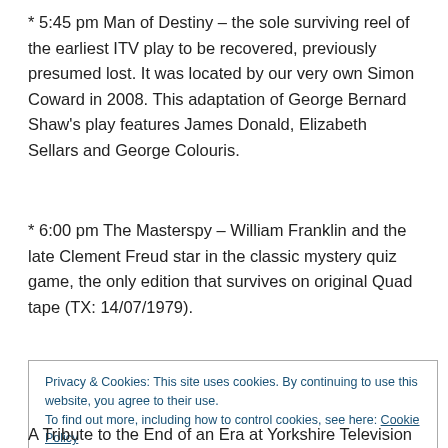* 5:45 pm Man of Destiny – the sole surviving reel of the earliest ITV play to be recovered, previously presumed lost. It was located by our very own Simon Coward in 2008. This adaptation of George Bernard Shaw's play features James Donald, Elizabeth Sellars and George Colouris.
* 6:00 pm The Masterspy – William Franklin and the late Clement Freud star in the classic mystery quiz game, the only edition that survives on original Quad tape (TX: 14/07/1979).
Privacy & Cookies: This site uses cookies. By continuing to use this website, you agree to their use. To find out more, including how to control cookies, see here: Cookie Policy
A Tribute to the End of an Era at Yorkshire Television